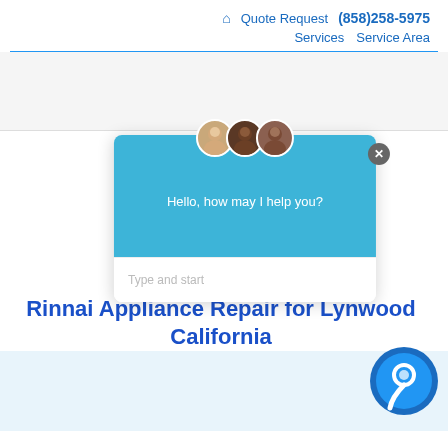🏠 Quote Request (858)258-5975 Services Service Area
[Figure (screenshot): Chat widget popup with three avatar photos, blue header saying 'Hello, how may I help you?' and input field 'Type and start']
Rinnai Appliance Repair for Lynwood California